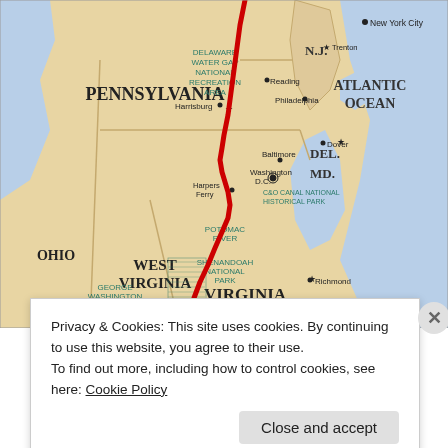[Figure (map): Map of the eastern United States showing a trail route (red line) running along the Appalachian corridor from Virginia/North Carolina northward through West Virginia, Pennsylvania, New Jersey to New York. Labels include: Pennsylvania, Ohio, West Virginia, Virginia, Del., MD., N.J., Atlantic Ocean, Delaware Water Gap National Recreation Area, C&O Canal National Historical Park, Potomac River, Shenandoah National Park, George Washington National Forest. Cities: New York City, Trenton, Reading, Philadelphia, Harrisburg, Baltimore, Dover, Washington D.C., Harpers Ferry, Richmond, Roanoke. Features: red trail line, hatched area near George Washington National Forest.]
Privacy & Cookies: This site uses cookies. By continuing to use this website, you agree to their use.
To find out more, including how to control cookies, see here: Cookie Policy
Close and accept